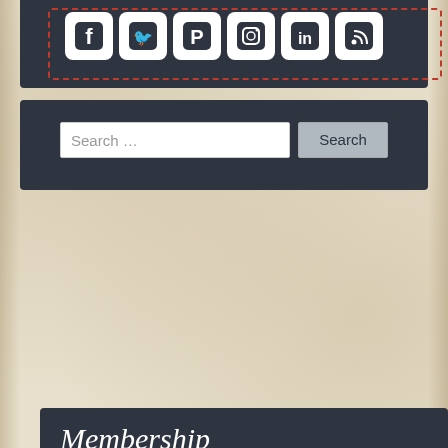[Figure (screenshot): Social media icons row (Facebook, Twitter, Pinterest, Instagram, LinkedIn, RSS) as white icons on dark background with red dashed border]
[Figure (screenshot): Search bar with placeholder text 'Search ...' and a Search button on dark background]
Membership
[Figure (screenshot): Membership section showing three membership badges: FBC Member (Food Bloggers of Canada), YMC Member (#YMCCOMMUNITY), and Proud Member of Mom Central with Blogger badge]